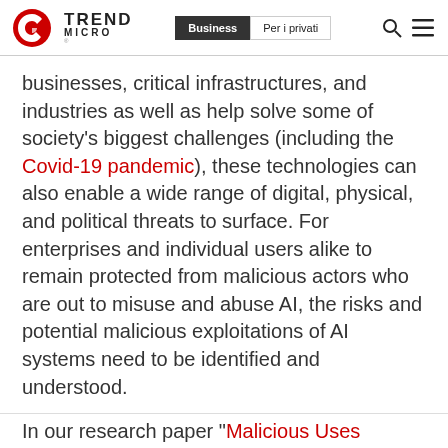Trend Micro | Business | Per i privati
businesses, critical infrastructures, and industries as well as help solve some of society's biggest challenges (including the Covid-19 pandemic), these technologies can also enable a wide range of digital, physical, and political threats to surface. For enterprises and individual users alike to remain protected from malicious actors who are out to misuse and abuse AI, the risks and potential malicious exploitations of AI systems need to be identified and understood.
In our research paper “Malicious Uses…